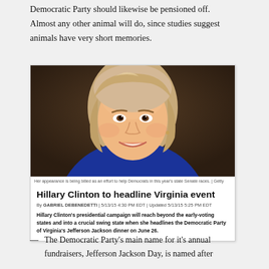Democratic Party should likewise be pensioned off. Almost any other animal will do, since studies suggest animals have very short memories.
[Figure (photo): Photo of Hillary Clinton smiling, with blonde hair, wearing a blue jacket. Caption: Her appearance is being billed as an effort to help Democrats in this year's state Senate races. | Getty]
Hillary Clinton to headline Virginia event
By GABRIEL DEBENEDETTI | 5/13/15 4:30 PM EDT | Updated 5/13/15 5:25 PM EDT
Hillary Clinton's presidential campaign will reach beyond the early-voting states and into a crucial swing state when she headlines the Democratic Party of Virginia's Jefferson Jackson dinner on June 26.
The Democratic Party's main name for it's annual fundraisers, Jefferson Jackson Day, is named after